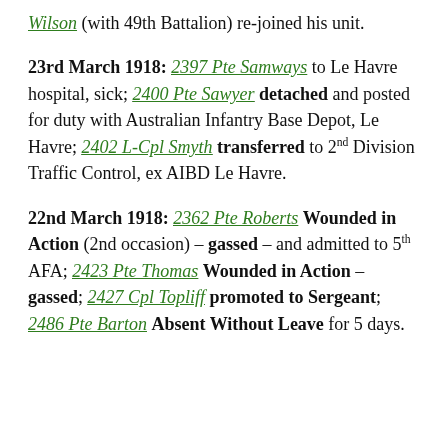Wilson (with 49th Battalion) re-joined his unit.
23rd March 1918: 2397 Pte Samways to Le Havre hospital, sick; 2400 Pte Sawyer detached and posted for duty with Australian Infantry Base Depot, Le Havre; 2402 L-Cpl Smyth transferred to 2nd Division Traffic Control, ex AIBD Le Havre.
22nd March 1918: 2362 Pte Roberts Wounded in Action (2nd occasion) – gassed – and admitted to 5th AFA; 2423 Pte Thomas Wounded in Action – gassed; 2427 Cpl Topliff promoted to Sergeant; 2486 Pte Barton Absent Without Leave for 5 days.